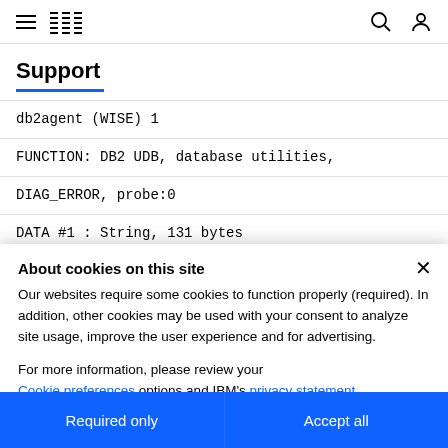IBM Support navigation header
Support
db2agent (WISE) 1
FUNCTION: DB2 UDB, database utilities,
DIAG_ERROR, probe:0
DATA #1 : String, 131 bytes
About cookies on this site
Our websites require some cookies to function properly (required). In addition, other cookies may be used with your consent to analyze site usage, improve the user experience and for advertising.
For more information, please review your Cookie preferences options and IBM's privacy statement.
Required only | Accept all